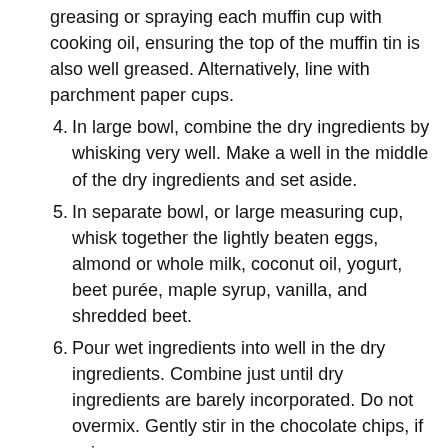(continuation) greasing or spraying each muffin cup with cooking oil, ensuring the top of the muffin tin is also well greased. Alternatively, line with parchment paper cups.
4. In large bowl, combine the dry ingredients by whisking very well. Make a well in the middle of the dry ingredients and set aside.
5. In separate bowl, or large measuring cup, whisk together the lightly beaten eggs, almond or whole milk, coconut oil, yogurt, beet purée, maple syrup, vanilla, and shredded beet.
6. Pour wet ingredients into well in the dry ingredients. Combine just until dry ingredients are barely incorporated. Do not overmix. Gently stir in the chocolate chips, if using.
7. Spoon batter into prepared muffin tins, filling almost to the muffin cup rim. Let batter sit for 5 minutes before baking.
8. Transfer muffins to oven and immediately